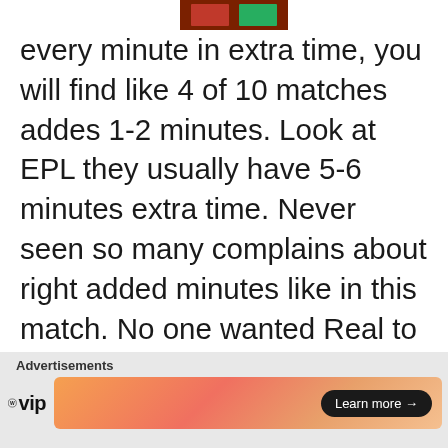[Figure (illustration): Small avatar/icon image in brown and green colors at top right of text area]
every minute in extra time, you will find like 4 of 10 matches addes 1-2 minutes. Look at EPL they usually have 5-6 minutes extra time. Never seen so many complains about right added minutes like in this match. No one wanted Real to get La Decima cause the way will be further for other team to get 10 cups. Well it's understandable. It wont be easy.
Advertisements
[Figure (logo): WordPress VIP logo on left side of advertisement bar]
[Figure (illustration): Orange and pink gradient advertisement banner with Learn more arrow button]